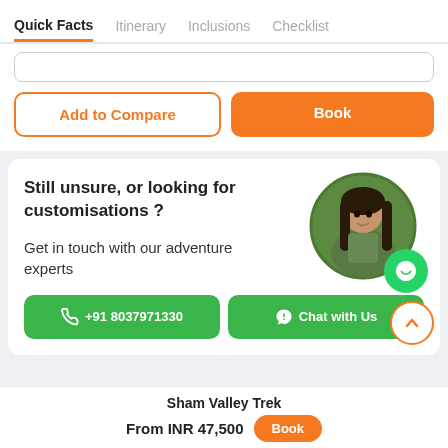Quick Facts  Itinerary  Inclusions  Checklist
Add to Compare
Book
Still unsure, or looking for customisations ?
Get in touch with our adventure experts
[Figure (photo): Circular portrait photo of a young woman with long dark hair, seated outdoors in a natural forest setting, with a WhatsApp icon badge overlaid at bottom right]
+91 8037971330
Chat with Us
Sham Valley Trek
From INR 47,500  Book